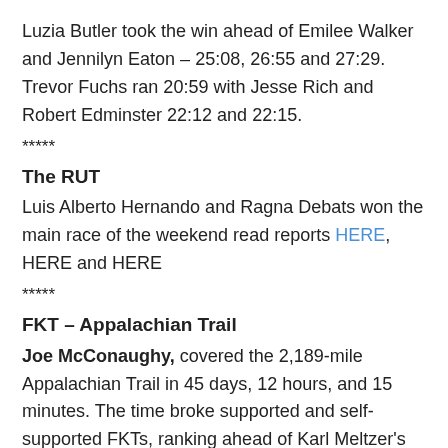Luzia Butler took the win ahead of Emilee Walker and Jennilyn Eaton – 25:08, 26:55 and 27:29. Trevor Fuchs ran 20:59 with Jesse Rich and Robert Edminster 22:12 and 22:15.
*****
The RUT
Luis Alberto Hernando and Ragna Debats won the main race of the weekend read reports HERE, HERE and HERE
*****
FKT – Appalachian Trail
Joe McConaughy, covered the 2,189-mile Appalachian Trail in 45 days, 12 hours, and 15 minutes. The time broke supported and self-supported FKTs, ranking ahead of Karl Meltzer's supported 45:22:38from 2016.
*****